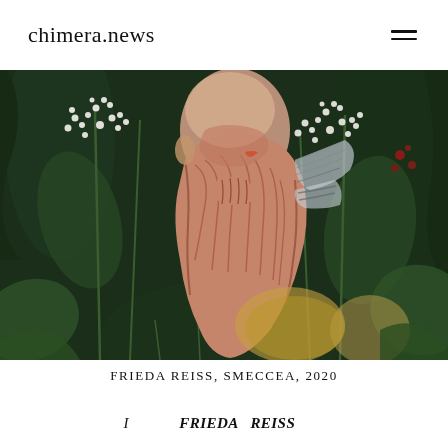chimera.news
[Figure (illustration): Digital artwork showing a human figure with exposed musculature/anatomical rendering surrounded by white flowers and green foliage. The figure's face and body are depicted with detailed muscle fibers in reddish tones, integrated into a lush garden setting with white clustered flowers (like yarrow) and dark green leaves.]
FRIEDA REISS, SMECCEA, 2020
I meeting FRIEDA REISS ...